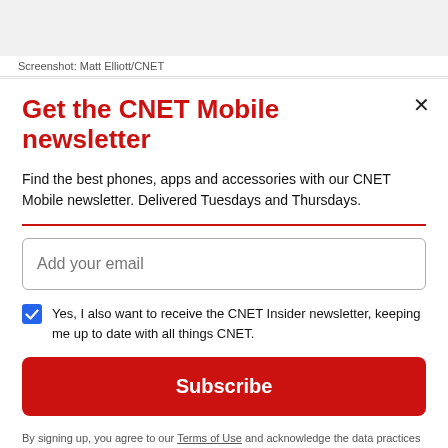[Figure (screenshot): Partial screenshot image at top of page]
Screenshot: Matt Elliott/CNET
Get the CNET Mobile newsletter
Find the best phones, apps and accessories with our CNET Mobile newsletter. Delivered Tuesdays and Thursdays.
Add your email
Yes, I also want to receive the CNET Insider newsletter, keeping me up to date with all things CNET.
Subscribe
By signing up, you agree to our Terms of Use and acknowledge the data practices in our Privacy Policy. You may unsubscribe at any time.